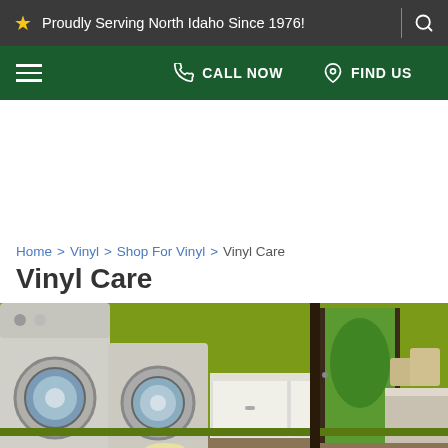Proudly Serving North Idaho Since 1976!
CALL NOW | FIND US
Home > Vinyl > Shop For Vinyl > Vinyl Care
Vinyl Care
[Figure (photo): Photo of a laundry room with front-loading washing machines, white cabinetry, green walls, a glass door opening to a green yard, a bench with cushions and wicker baskets, and a yellow laundry basket on a vinyl floor.]